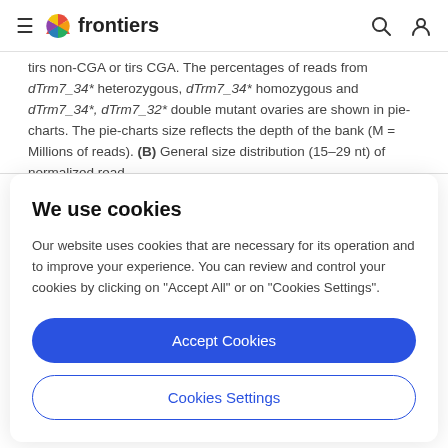frontiers
tirs non-CGA or tirs CGA. The percentages of reads from dTrm7_34* heterozygous, dTrm7_34* homozygous and dTrm7_34*, dTrm7_32* double mutant ovaries are shown in pie-charts. The pie-charts size reflects the depth of the bank (M = Millions of reads). (B) General size distribution (15–29 nt) of normalized read
We use cookies
Our website uses cookies that are necessary for its operation and to improve your experience. You can review and control your cookies by clicking on "Accept All" or on "Cookies Settings".
Accept Cookies
Cookies Settings